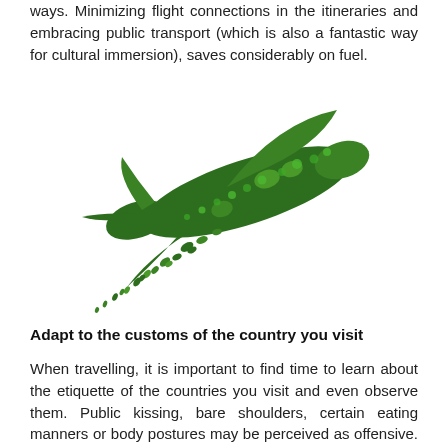ways. Minimizing flight connections in the itineraries and embracing public transport (which is also a fantastic way for cultural immersion), saves considerably on fuel.
[Figure (illustration): An airplane shaped entirely out of green grass/leaves, with leaf particles trailing behind it, symbolizing eco-friendly travel.]
Adapt to the customs of the country you visit
When travelling, it is important to find time to learn about the etiquette of the countries you visit and even observe them. Public kissing, bare shoulders, certain eating manners or body postures may be perceived as offensive. Showing appreciation and respecting local customs is